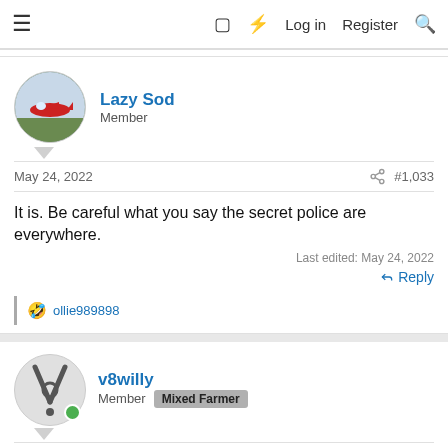≡  □  ⚡  Log in  Register  🔍
Lazy Sod
Member
May 24, 2022  #1,033
It is. Be careful what you say the secret police are everywhere.
Last edited: May 24, 2022
↩ Reply
🤣 ollie989898
v8willy
Member  Mixed Farmer
May 26, 2022  #1,034